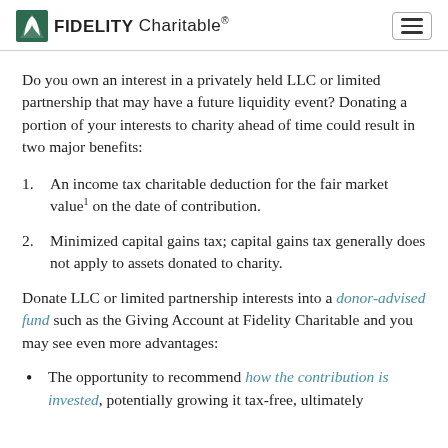FIDELITY Charitable®
Do you own an interest in a privately held LLC or limited partnership that may have a future liquidity event? Donating a portion of your interests to charity ahead of time could result in two major benefits:
1. An income tax charitable deduction for the fair market value¹ on the date of contribution.
2. Minimized capital gains tax; capital gains tax generally does not apply to assets donated to charity.
Donate LLC or limited partnership interests into a donor-advised fund such as the Giving Account at Fidelity Charitable and you may see even more advantages:
The opportunity to recommend how the contribution is invested, potentially growing it tax-free, ultimately